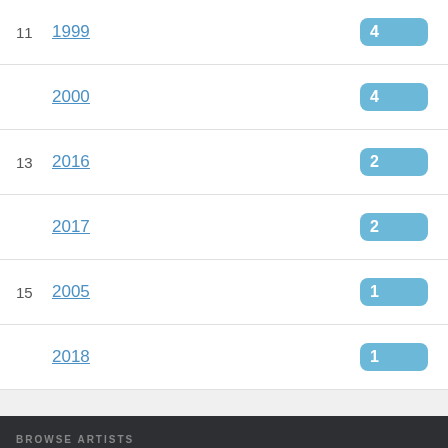| # | Year | Count |
| --- | --- | --- |
| 11 | 1999 | 4 |
|  | 2000 | 4 |
| 13 | 2016 | 2 |
|  | 2017 | 2 |
| 15 | 2005 | 1 |
|  | 2018 | 1 |
BROWSE ARTISTS
A B C D E F G H I J K L M N O P Q R S T U V W X Y Z #
BROWSE VENUES
A B C D E F G H I J K L M N O P Q R S T U V W X Y Z #